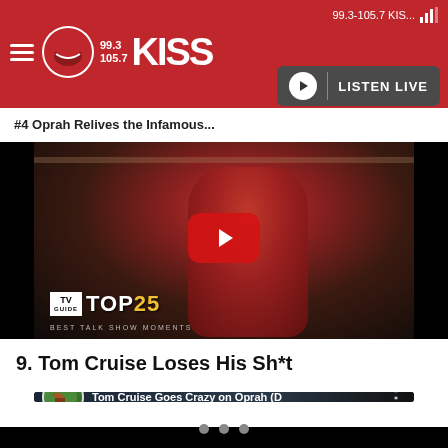99.3-105.7 KISS...
[Figure (screenshot): 99.3-105.7 KISS FM radio station app header with logo, hamburger menu, and Listen Live button]
#4 Oprah Relives the Infamous...
[Figure (screenshot): YouTube video thumbnail showing Oprah in red dress with TV Guide Top 25 Best Talk Show Moments overlay and YouTube play button]
9. Tom Cruise Loses His Sh*t
[Figure (screenshot): YouTube video thumbnail for 'Tom Cruise Goes Crazy on Oprah (D...' with channel icon and more options button]